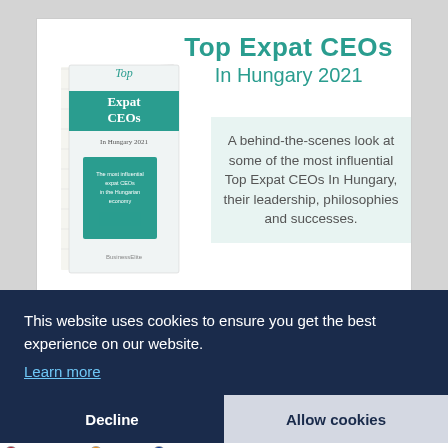[Figure (illustration): Promotional image of a book titled 'Top Expat CEOs in Hungary 2021' shown at an angle with a teal cover, alongside a title and description text.]
Top Expat CEOs In Hungary 2021
A behind-the-scenes look at some of the most influential Top Expat CEOs In Hungary, their leadership, philosophies and successes.
This website uses cookies to ensure you get the best experience on our website.
Learn more
Decline
Allow cookies
USD/HUF   BOX   EUR/HUF